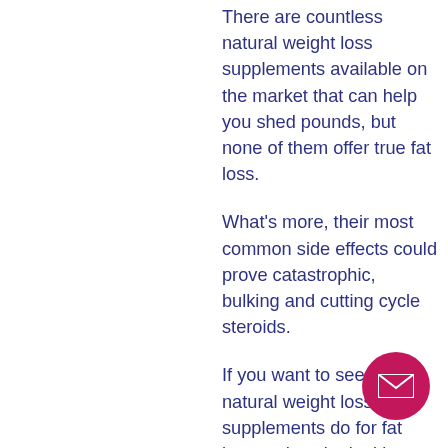There are countless natural weight loss supplements available on the market that can help you shed pounds, but none of them offer true fat loss.
What's more, their most common side effects could prove catastrophic, bulking and cutting cycle steroids.
If you want to see what natural weight loss supplements do for fat loss and you're looking to help yourself start losing weight, these natural weight loss steroids are the ones for you, good bulking sarm.
There have been many supplements made by companies over the years that claim to help you lose weight, all of which have the same ingredients except for an added element—fat.
Some of these supplements claim to work...
[Figure (other): Pink/magenta circular email contact button with white envelope icon, positioned bottom-right]